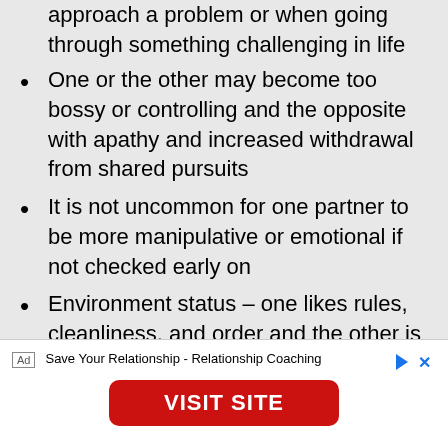approach a problem or when going through something challenging in life
One or the other may become too bossy or controlling and the opposite with apathy and increased withdrawal from shared pursuits
It is not uncommon for one partner to be more manipulative or emotional if not checked early on
Environment status – one likes rules, cleanliness, and order and the other is more of a free spirit in the home environment
Ad  Save Your Relationship - Relationship Coaching
VISIT SITE